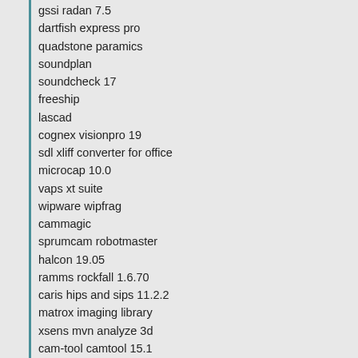gssi radan 7.5
dartfish express pro
quadstone paramics
soundplan
soundcheck 17
freeship
lascad
cognex visionpro 19
sdl xliff converter for office
microcap 10.0
vaps xt suite
wipware wipfrag
cammagic
sprumcam robotmaster
halcon 19.05
ramms rockfall 1.6.70
caris hips and sips 11.2.2
matrox imaging library
xsens mvn analyze 3d
cam-tool camtool 15.1
visual slope 7.0
zond zondres2d
ramms avalanche 1.7.20
cdegs 15.4
citect 7.6